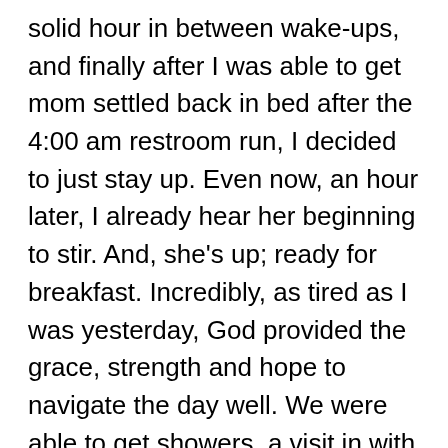solid hour in between wake-ups, and finally after I was able to get mom settled back in bed after the 4:00 am restroom run, I decided to just stay up. Even now, an hour later, I already hear her beginning to stir. And, she's up; ready for breakfast. Incredibly, as tired as I was yesterday, God provided the grace, strength and hope to navigate the day well. We were able to get showers, a visit in with a life-long friend of my sister's, have lunch, and complete a few drive-thru errands in town, prior to mom's neurology appointment and the crazy downpour that brought flash flood warnings with it. Our time in the room spent waiting for the neurologist was actually quite